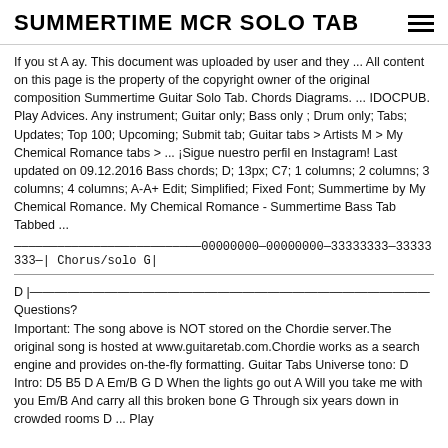SUMMERTIME MCR SOLO TAB
If you st A ay. This document was uploaded by user and they ... All content on this page is the property of the copyright owner of the original composition Summertime Guitar Solo Tab. Chords Diagrams. ... IDOCPUB. Play Advices. Any instrument; Guitar only; Bass only ; Drum only; Tabs; Updates; Top 100; Upcoming; Submit tab; Guitar tabs > Artists M > My Chemical Romance tabs > ... ¡Sigue nuestro perfil en Instagram! Last updated on 09.12.2016 Bass chords; D; 13px; C7; 1 columns; 2 columns; 3 columns; 4 columns; A-A+ Edit; Simplified; Fixed Font; Summertime by My Chemical Romance. My Chemical Romance - Summertime Bass Tab Tabbed ...
——————————————————————————00000000—00000000—33333333—33333333—| Chorus/solo G|
D |———————————————————————————————— Questions? Important: The song above is NOT stored on the Chordie server.The original song is hosted at www.guitaretab.com.Chordie works as a search engine and provides on-the-fly formatting. Guitar Tabs Universe tono: D Intro: D5 B5 D A Em/B G D When the lights go out A Will you take me with you Em/B And carry all this broken bone G Through six years down in crowded rooms D ... Play